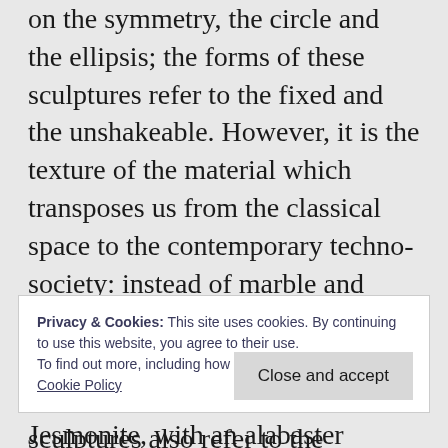on the symmetry, the circle and the ellipsis; the forms of these sculptures refer to the fixed and the unshakeable. However, it is the texture of the material which transposes us from the classical space to the contemporary techno-society: instead of marble and granite found in the ruins of the Imperial Fora in Rome we encounter the industrial material Jesmonite, with an alabaster texture or a golden cosmetics, leaving us up in the air vis-à-vis the fixed and the unshakeable norms.
Privacy & Cookies: This site uses cookies. By continuing to use this website, you agree to their use.
To find out more, including how to control cookies, see here:
Cookie Policy
Close and accept
sculptures also refer to the classical form of the